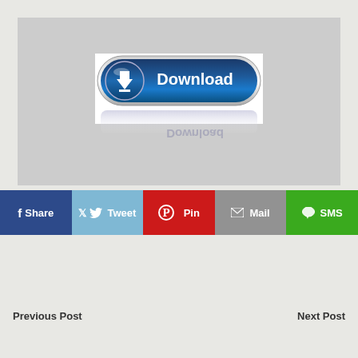[Figure (screenshot): A gray rectangular area containing a blue glossy 'Download' button with a download icon on the left side and a reflection below]
f Share
Tweet
Pin
Mail
SMS
Previous Post
Next Post